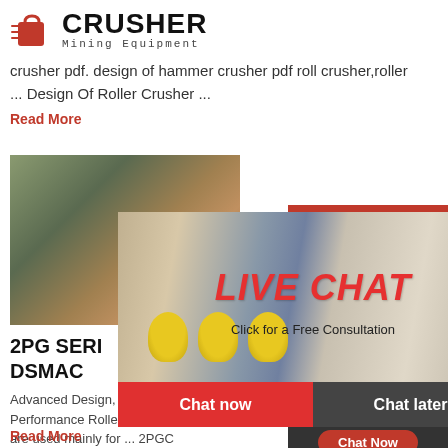[Figure (logo): Crusher Mining Equipment logo with red shopping bag icon and bold CRUSHER text]
crusher pdf. design of hammer crusher pdf roll crusher,roller ... Design Of Roller Crusher ...
Read More
[Figure (photo): Industrial machinery photo showing large crusher equipment with green background]
2PG SERIES
DSMAC
Advanced Design, High Performance Roller ... Ro are used mainly for ... 2PGC SERIES DOUBLE R CRUSHER SECTION VIEW 5. Roll
Read More
[Figure (infographic): Live Chat overlay with workers in hard hats, LIVE CHAT title in red italic, Click for a Free Consultation subtitle, Chat now and Chat later buttons]
[Figure (photo): Right sidebar with 24Hrs Online badge, female customer service agent with headset, Need questions & suggestion panel, Chat Now button, Enquiry section, limingjlmofen@sina.com email]